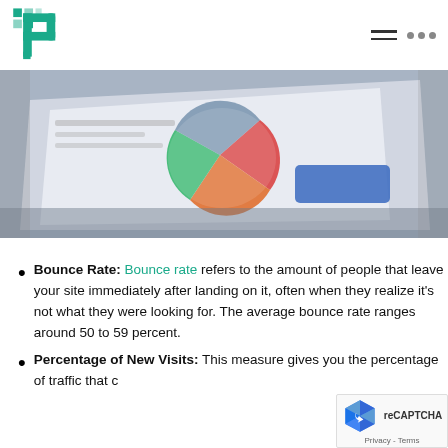Pixolabo logo and navigation header
[Figure (photo): Blurred photo of printed analytics reports/charts on paper, showing pie chart with red, orange, green colors and blue rectangular element, placed on a gray surface]
Bounce Rate: Bounce rate refers to the amount of people that leave your site immediately after landing on it, often when they realize it's not what they were looking for. The average bounce rate ranges around 50 to 59 percent.
Percentage of New Visits: This measure gives you the percentage of traffic that comes from new visitors...